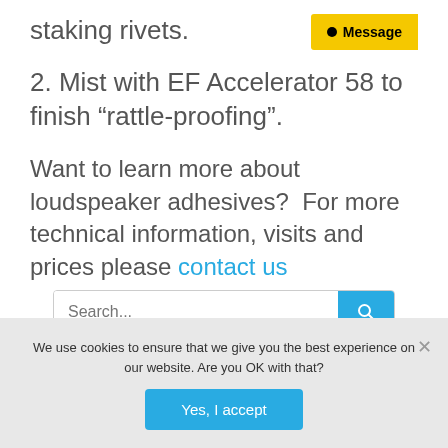staking rivets.
2. Mist with EF Accelerator 58 to finish “rattle-proofing”.
Want to learn more about loudspeaker adhesives?  For more technical information, visits and prices please contact us
Search...
We use cookies to ensure that we give you the best experience on our website. Are you OK with that?
Yes, I accept